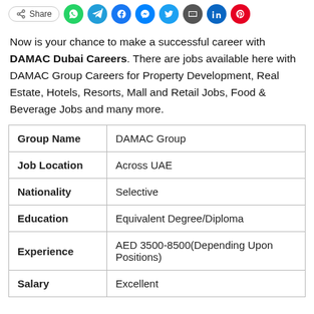[Figure (other): Share button row with WhatsApp, Telegram, Facebook, Messenger, Twitter, Email, LinkedIn, Pinterest icons]
Now is your chance to make a successful career with DAMAC Dubai Careers. There are jobs available here with DAMAC Group Careers for Property Development, Real Estate, Hotels, Resorts, Mall and Retail Jobs, Food & Beverage Jobs and many more.
| Group Name | DAMAC Group |
| Job Location | Across UAE |
| Nationality | Selective |
| Education | Equivalent Degree/Diploma |
| Experience | AED 3500-8500(Depending Upon Positions) |
| Salary | Excellent |